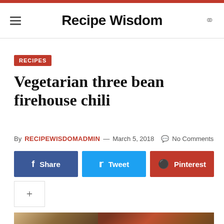Recipe Wisdom
RECIPES
Vegetarian three bean firehouse chili
By RECIPEWISDOMADMIN — March 5, 2018  No Comments
Share  Tweet  Pinterest
[Figure (photo): Photo of chili dishes with toppings including shredded cheese on the left and vegetable chili on the right]